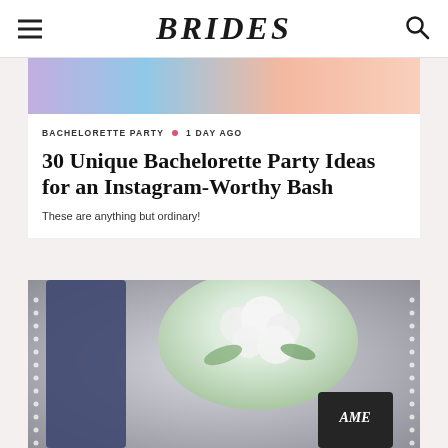BRIDES
[Figure (photo): Colorful gradient image strip at top of article card]
BACHELORETTE PARTY • 1 DAY AGO
30 Unique Bachelorette Party Ideas for an Instagram-Worthy Bash
These are anything but ordinary!
[Figure (photo): Photo of women at a bachelorette party with white floral centerpiece and chalkboard sign]